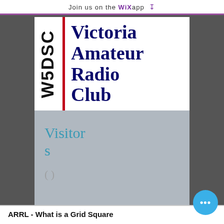Join us on the WiX app ↓
[Figure (logo): Victoria Amateur Radio Club logo. Left side shows 'W5DSC' written vertically. A red vertical divider bar. Right side shows 'Victoria Amateur Radio Club' in large dark navy serif font stacked vertically.]
Visitors
( )
ARRL - What is a Grid Square